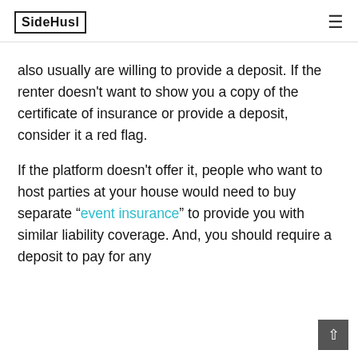SideHusl
also usually are willing to provide a deposit. If the renter doesn't want to show you a copy of the certificate of insurance or provide a deposit, consider it a red flag.
If the platform doesn't offer it, people who want to host parties at your house would need to buy separate "event insurance" to provide you with similar liability coverage. And, you should require a deposit to pay for any